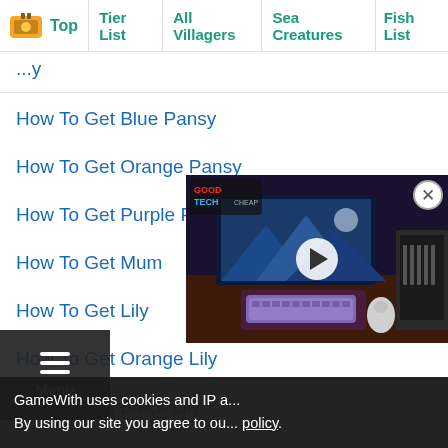Top | Tier List | All Villagers | Sea Creatures | Fish List
How To Get Blue Pansy
How To Get Orange Pansy
How To Get Purple Pansy
How To Get Mum
How To Get Lily
How To Get Orange Lily
How To Get Black Lily
How To Get Pink Lily
[Figure (screenshot): Video thumbnail showing a tech desk setup with monitors and keyboard, with a GoodTech Cheap logo overlay and a play button]
GameWith uses cookies and IP a... By using our site you agree to ou... policy.